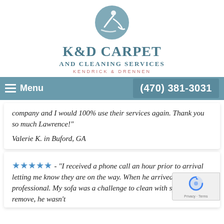[Figure (logo): K&D Carpet and Cleaning Services logo with teal circle icon showing a person cleaning, and company name below]
Menu   (470) 381-3031
company and I would 100% use their services again. Thank you so much Lawrence!"
Valerie K. in Buford, GA
★★★★★ - "I received a phone call an hour prior to arrival letting me know they are on the way. When he arrived he was very professional. My sofa was a challenge to clean with spots to remove, he wasn't